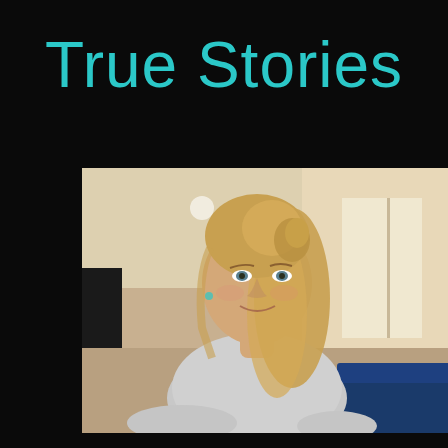True Stories
[Figure (photo): A woman with long blonde hair wearing a grey sweatshirt, smiling slightly at the camera, posed leaning forward in what appears to be a living room setting with warm beige tones and blue sofa visible in background.]